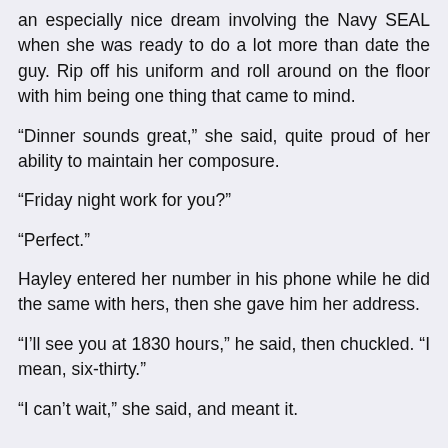an especially nice dream involving the Navy SEAL when she was ready to do a lot more than date the guy. Rip off his uniform and roll around on the floor with him being one thing that came to mind.
“Dinner sounds great,” she said, quite proud of her ability to maintain her composure.
“Friday night work for you?”
“Perfect.”
Hayley entered her number in his phone while he did the same with hers, then she gave him her address.
“I’ll see you at 1830 hours,” he said, then chuckled. “I mean, six-thirty.”
“I can’t wait,” she said, and meant it.